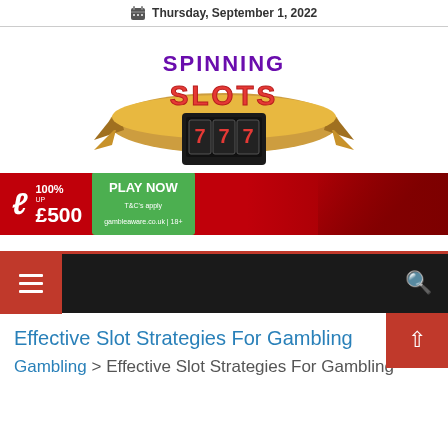Thursday, September 1, 2022
[Figure (logo): Spinning Slots 777 logo with gold ribbon banner and slot machine graphic]
[Figure (infographic): Red casino advertisement banner: 100% UP TO £500 PLAY NOW, T&Cs apply, gambleaware.co.uk 18+, with woman holding playing cards]
[Figure (screenshot): Black navigation bar with red hamburger menu button on left and search icon on right]
Effective Slot Strategies For Gambling
Gambling > Effective Slot Strategies For Gambling